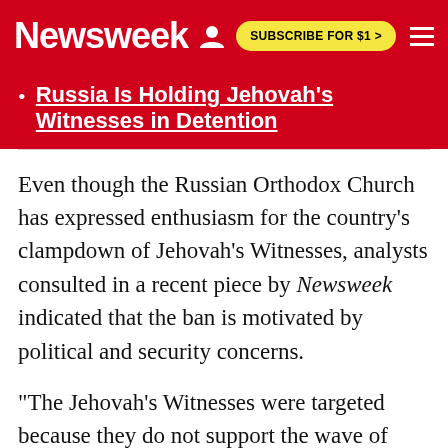Newsweek | SUBSCRIBE FOR $1 >
Russia Is Holding Jehovah's Witnesses in Detention
Even though the Russian Orthodox Church has expressed enthusiasm for the country's clampdown of Jehovah's Witnesses, analysts consulted in a recent piece by Newsweek indicated that the ban is motivated by political and security concerns.
"The Jehovah's Witnesses were targeted because they do not support the wave of